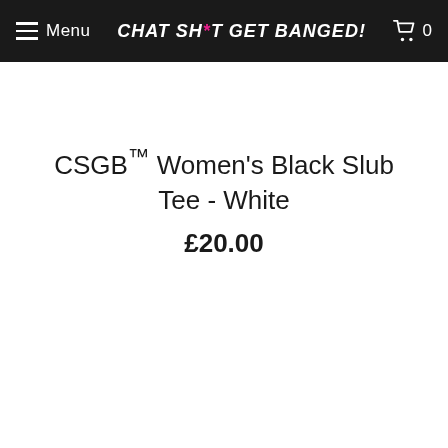Menu | CHAT SH*T GET BANGED! | 0
CSGB™ Women's Black Slub Tee - White
£20.00